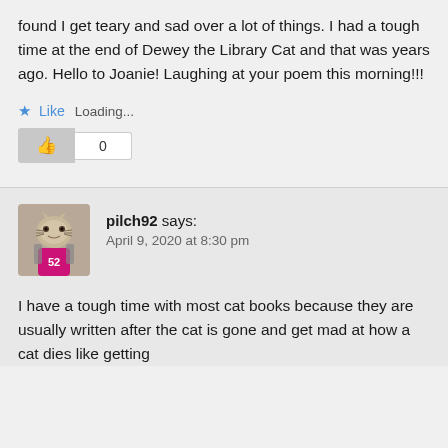found I get teary and sad over a lot of things. I had a tough time at the end of Dewey the Library Cat and that was years ago. Hello to Joanie! Laughing at your poem this morning!!!
Loading...
0
pilch92 says:
April 9, 2020 at 8:30 pm
I have a tough time with most cat books because they are usually written after the cat is gone and get mad at how a cat dies like getting